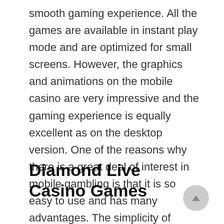smooth gaming experience. All the games are available in instant play mode and are optimized for small screens. However, the graphics and animations on the mobile casino are very impressive and the gaming experience is equally excellent as on the desktop version. One of the reasons why there is a great deal of interest in mobile gambling is that it is so easy to use and has many advantages. The simplicity of mobile gaming is another reason why it has become such a popular pastime.
Diamond Live Casino Games